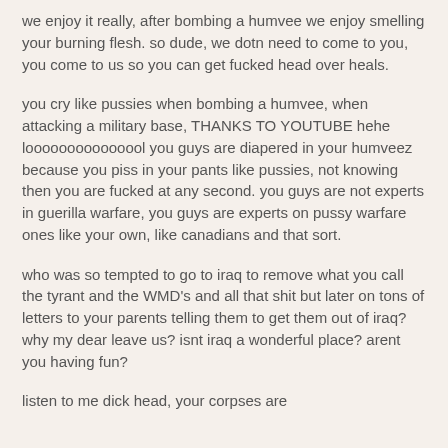we enjoy it really, after bombing a humvee we enjoy smelling your burning flesh. so dude, we dotn need to come to you, you come to us so you can get fucked head over heals.
you cry like pussies when bombing a humvee, when attacking a military base, THANKS TO YOUTUBE hehe looooooooooooool you guys are diapered in your humveez because you piss in your pants like pussies, not knowing then you are fucked at any second. you guys are not experts in guerilla warfare, you guys are experts on pussy warfare ones like your own, like canadians and that sort.
who was so tempted to go to iraq to remove what you call the tyrant and the WMD's and all that shit but later on tons of letters to your parents telling them to get them out of iraq? why my dear leave us? isnt iraq a wonderful place? arent you having fun?
listen to me dick head, your corpses are